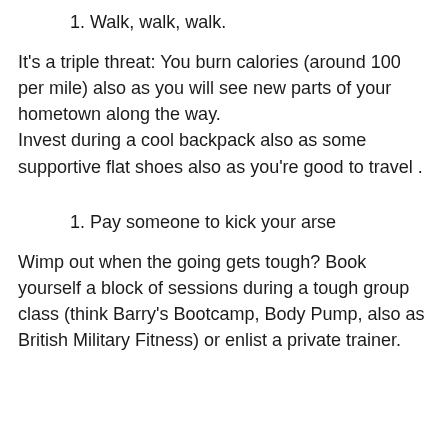1. Walk, walk, walk.
It’s a triple threat: You burn calories (around 100 per mile) also as you will see new parts of your hometown along the way.
Invest during a cool backpack also as some supportive flat shoes also as you’re good to travel .
1. Pay someone to kick your arse
Wimp out when the going gets tough? Book yourself a block of sessions during a tough group class (think Barry’s Bootcamp, Body Pump, also as British Military Fitness) or enlist a private trainer.